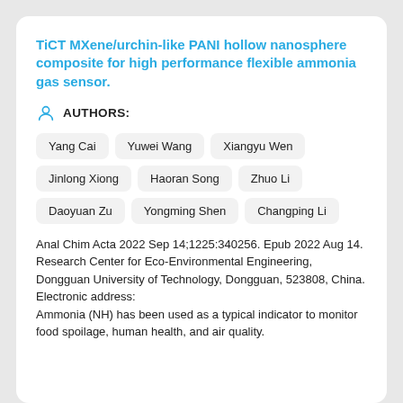TiCT MXene/urchin-like PANI hollow nanosphere composite for high performance flexible ammonia gas sensor.
AUTHORS:
Yang Cai
Yuwei Wang
Xiangyu Wen
Jinlong Xiong
Haoran Song
Zhuo Li
Daoyuan Zu
Yongming Shen
Changping Li
Anal Chim Acta 2022 Sep 14;1225:340256. Epub 2022 Aug 14.
Research Center for Eco-Environmental Engineering, Dongguan University of Technology, Dongguan, 523808, China. Electronic address:
Ammonia (NH) has been used as a typical indicator to monitor food spoilage, human health, and air quality.